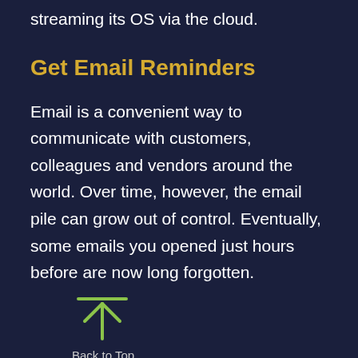streaming its OS via the cloud.
Get Email Reminders
Email is a convenient way to communicate with customers, colleagues and vendors around the world. Over time, however, the email pile can grow out of control. Eventually, some emails you opened just hours before are now long forgotten.
[Figure (illustration): Back to Top arrow icon with upward arrow and horizontal line above it, in green color, with 'Back to Top' label below]
Windows 365 updates include reminders to take action on emails you have not yet addressed. This reduces the likelihood of